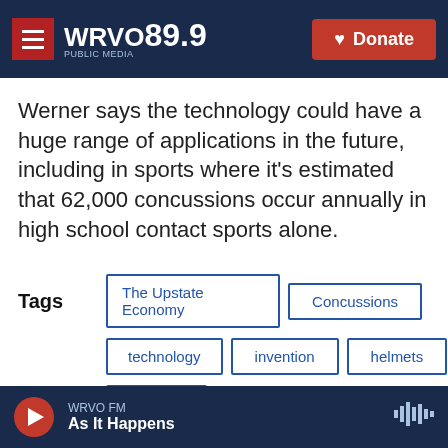WRVO PUBLIC MEDIA 89.9 | Donate
Werner says the technology could have a huge range of applications in the future, including in sports where it's estimated that 62,000 concussions occur annually in high school contact sports alone.
Tags: The Upstate Economy | Concussions | technology | invention | helmets | sports
WRVO FM — As It Happens